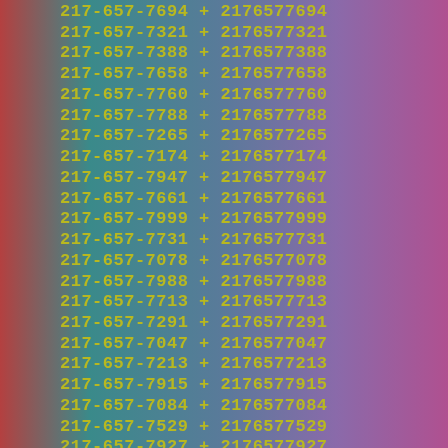217-657-7694 + 2176577694
217-657-7321 + 2176577321
217-657-7388 + 2176577388
217-657-7658 + 2176577658
217-657-7760 + 2176577760
217-657-7788 + 2176577788
217-657-7265 + 2176577265
217-657-7174 + 2176577174
217-657-7947 + 2176577947
217-657-7661 + 2176577661
217-657-7999 + 2176577999
217-657-7731 + 2176577731
217-657-7078 + 2176577078
217-657-7988 + 2176577988
217-657-7713 + 2176577713
217-657-7291 + 2176577291
217-657-7047 + 2176577047
217-657-7213 + 2176577213
217-657-7915 + 2176577915
217-657-7084 + 2176577084
217-657-7529 + 2176577529
217-657-7927 + 2176577927